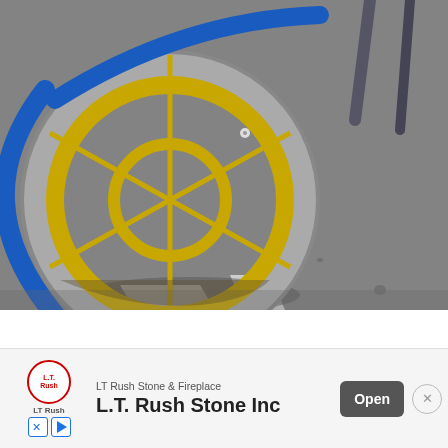[Figure (photo): Close-up photograph of a child's bicycle or tricycle wheel lying on asphalt/pavement. The wheel has a grey rubber tire, a yellow spoke rim, and blue painted metal frame. White road marking lines are visible on the dark grey asphalt. Metal chair/stand legs visible in the upper right background.]
[Figure (screenshot): Mobile advertisement banner at the bottom of the screen. Shows LT Rush Stone & Fireplace logo (red circular badge with L.T. Rush text), company name 'LT Rush Stone & Fireplace' in small text, large bold text 'L.T. Rush Stone Inc' (partially cut off), a dark grey 'Open' button, and a circular X close button. Small X and play icon buttons below the logo.]